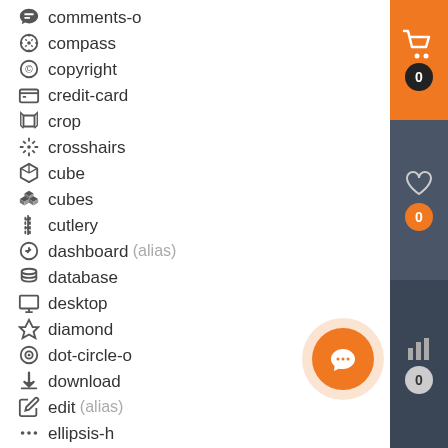comments-o
compass
copyright
credit-card
crop
crosshairs
cube
cubes
cutlery
dashboard (alias)
database
desktop
diamond
dot-circle-o
download
edit (alias)
ellipsis-h
ellipsis-v
envelope